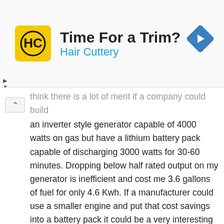[Figure (other): Advertisement banner for Hair Cuttery with logo, tagline 'Time For a Trim?' and blue navigation arrow icon]
think there is a lot of merit if a company could build an inverter style generator capable of 4000 watts on gas but have a lithium battery pack capable of discharging 3000 watts for 30-60 minutes. Dropping below half rated output on my generator is inefficient and cost me 3.6 gallons of fuel for only 4.6 Kwh. If a manufacturer could use a smaller engine and put that cost savings into a battery pack it could be a very interesting all-in-one power solution.
REPLY
bobad
Aug 10, 2020
If done in a smart, flexible way, a tool battery operated